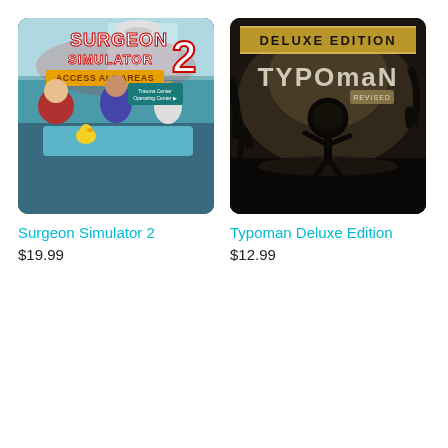[Figure (illustration): Surgeon Simulator 2: Access All Areas game cover art showing cartoon characters in a hospital operating room setting]
Surgeon Simulator 2
$19.99
[Figure (illustration): Typoman Deluxe Edition game cover art showing a silhouette stick figure made of letters on a dark atmospheric background with gold 'DELUXE EDITION' banner at top]
Typoman Deluxe Edition
$12.99